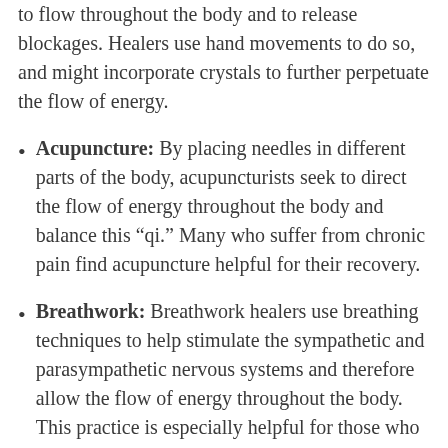to flow throughout the body and to release blockages. Healers use hand movements to do so, and might incorporate crystals to further perpetuate the flow of energy.
Acupuncture: By placing needles in different parts of the body, acupuncturists seek to direct the flow of energy throughout the body and balance this “qi.” Many who suffer from chronic pain find acupuncture helpful for their recovery.
Breathwork: Breathwork healers use breathing techniques to help stimulate the sympathetic and parasympathetic nervous systems and therefore allow the flow of energy throughout the body. This practice is especially helpful for those who live with anxiety and intrusive thoughts.
Sound healing: By using sound bowls, chimes, and other instruments, sound healers seek to